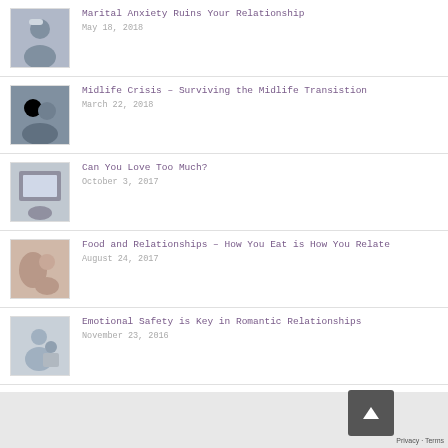Marital Anxiety Ruins Your Relationship
May 18, 2018
Midlife Crisis – Surviving the Midlife Transistion
March 22, 2018
Can You Love Too Much?
October 3, 2017
Food and Relationships – How You Eat is How You Relate
August 24, 2017
Emotional Safety is Key in Romantic Relationships
November 23, 2016
Building Trust and Intimacy in Relationships
November 9, 2016
Privacy · Terms